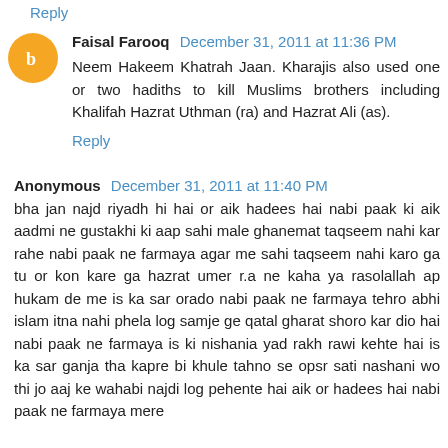Reply
Faisal Farooq  December 31, 2011 at 11:36 PM
Neem Hakeem Khatrah Jaan. Kharajis also used one or two hadiths to kill Muslims brothers including Khalifah Hazrat Uthman (ra) and Hazrat Ali (as).
Reply
Anonymous  December 31, 2011 at 11:40 PM
bha jan najd riyadh hi hai or aik hadees hai nabi paak ki aik aadmi ne gustakhi ki aap sahi male ghanemat taqseem nahi kar rahe nabi paak ne farmaya agar me sahi taqseem nahi karo ga tu or kon kare ga hazrat umer r.a ne kaha ya rasolallah ap hukam de me is ka sar orado nabi paak ne farmaya tehro abhi islam itna nahi phela log samje ge qatal gharat shoro kar dio hai nabi paak ne farmaya is ki nishania yad rakh rawi kehte hai is ka sar ganja tha kapre bi khule tahno se opsr sati nashani wo thi jo aaj ke wahabi najdi log pehente hai aik or hadees hai nabi paak ne farmaya mere